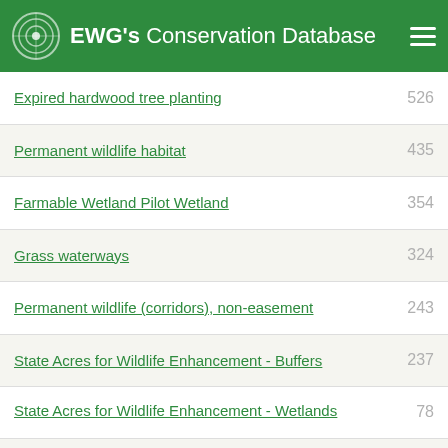EWG's Conservation Database
Expired hardwood tree planting 526
Permanent wildlife habitat 435
Farmable Wetland Pilot Wetland 354
Grass waterways 324
Permanent wildlife (corridors), non-easement 243
State Acres for Wildlife Enhancement - Buffers 237
State Acres for Wildlife Enhancement - Wetlands 78
Marginal pastureland wildlife habitat buffer 75